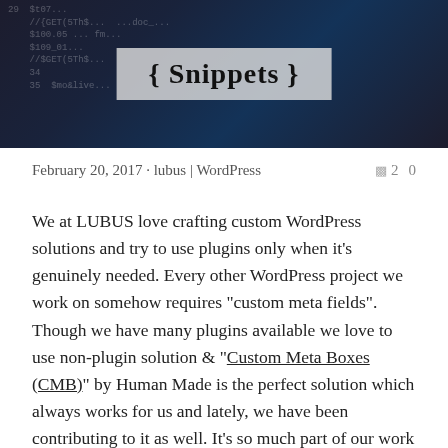[Figure (photo): Dark background image showing code with a semi-transparent banner overlay displaying '{ Snippets }' in bold text]
{ Snippets }
February 20, 2017 · lubus | WordPress   2  0
We at LUBUS love crafting custom WordPress solutions and try to use plugins only when it's genuinely needed. Every other WordPress project we work on somehow requires "custom meta fields". Though we have many plugins available we love to use non-plugin solution & "Custom Meta Boxes (CMB)" by Human Made is the perfect solution which always works for us and lately, we have been contributing to it as well. It's so much part of our work nowadays that we find ourselves spending a lot of time on its wiki for various code &